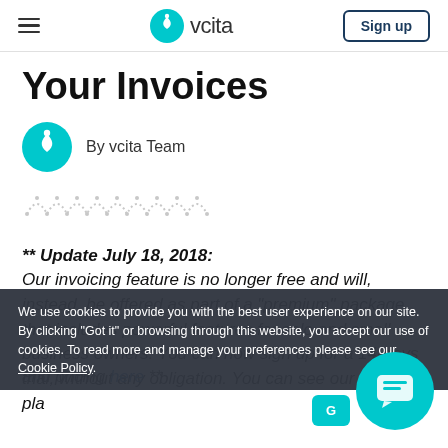vcita — Sign up
Your Invoices
By vcita Team
[Figure (illustration): Decorative wavy line graphic in light gray]
** Update July 18, 2018: Our invoicing feature is no longer free and will, instead, be offered as part of a "premium" package that includes powerful features for solo and small business owners. You can now sign up for a 14-days trial, without any obligation. You can see our current plans and pricing here **
We use cookies to provide you with the best user experience on our site. By clicking "Got it" or browsing through this website, you accept our use of cookies. To read more and manage your preferences please see our Cookie Policy.